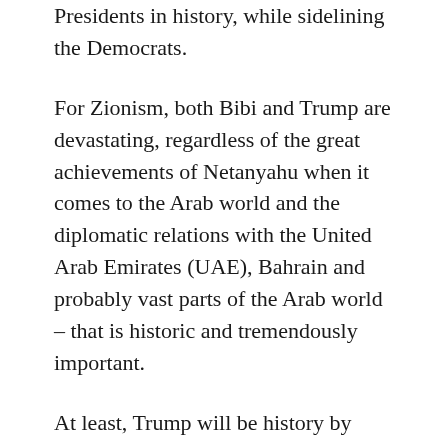Presidents in history, while sidelining the Democrats.
For Zionism, both Bibi and Trump are devastating, regardless of the great achievements of Netanyahu when it comes to the Arab world and the diplomatic relations with the United Arab Emirates (UAE), Bahrain and probably vast parts of the Arab world – that is historic and tremendously important.
At least, Trump will be history by January 2021. Trumpism, though, will be an essential part of America and the Western world today, and that is and remains a shame, thanks to folks like Hannity from Fox News or in Germany sites such as Achgut.com, Axis of the Good, and uncounted others, including rural weaponry maniacs in the US or pro-Trump, pro-Putin, German